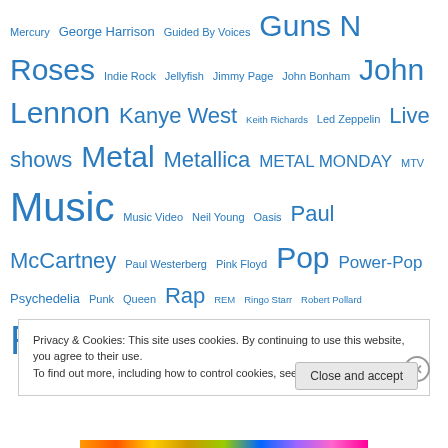Mercury George Harrison Guided By Voices Guns N Roses Indie Rock Jellyfish Jimmy Page John Bonham John Lennon Kanye West Keith Richards Led Zeppelin Live shows Metal Metallica METAL MONDAY MTV Music Music Video Neil Young Oasis Paul McCartney Paul Westerberg Pink Floyd Pop Power-Pop Psychedelia Punk Queen Rap REM Ringo Starr Robert Pollard Rock Singles Songs & Singles Spotify St. Louis Steely Dan Tame Impala The Beach Boys The Beatles The Byrds The Darkness The Flaming Lips The Kinks The Monkees The Replacements The Rolling Stones
Privacy & Cookies: This site uses cookies. By continuing to use this website, you agree to their use.
To find out more, including how to control cookies, see here: Cookie Policy
Close and accept